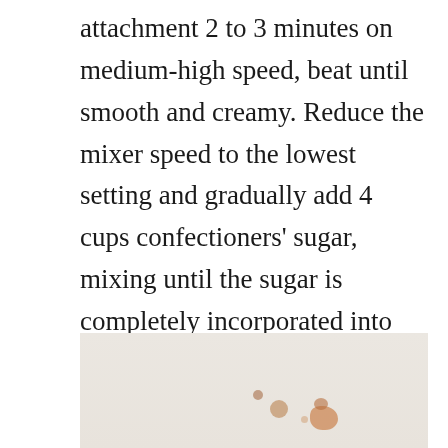attachment 2 to 3 minutes on medium-high speed, beat until smooth and creamy. Reduce the mixer speed to the lowest setting and gradually add 4 cups confectioners' sugar, mixing until the sugar is completely incorporated into the butter. 1 1/2 teaspoons sakura extract and 2 tablespoons thick whipped cream Increase the mixer's speed to medium-high and beat until the mixture is light and fluffy.
[Figure (photo): A food photograph showing baked goods or dessert items on a light background, partially visible at the bottom of the page.]